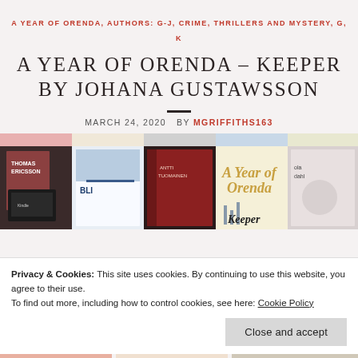A YEAR OF ORENDA, AUTHORS: G-J, CRIME, THRILLERS AND MYSTERY, G, K
A YEAR OF ORENDA – KEEPER BY JOHANA GUSTAWSSON
MARCH 24, 2020  BY MGRIFFITHS163
[Figure (photo): Collage banner showing multiple book covers including 'A Year of Orenda' and 'Keeper' by Johana Gustawsson]
Privacy & Cookies: This site uses cookies. By continuing to use this website, you agree to their use.
To find out more, including how to control cookies, see here: Cookie Policy
Close and accept